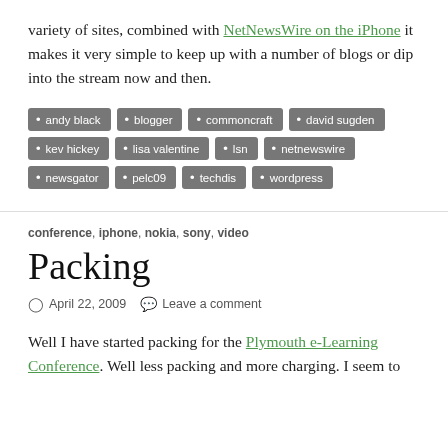variety of sites, combined with NetNewsWire on the iPhone it makes it very simple to keep up with a number of blogs or dip into the stream now and then.
andy black
blogger
commoncraft
david sugden
kev hickey
lisa valentine
lsn
netnewswire
newsgator
pelc09
techdis
wordpress
conference, iphone, nokia, sony, video
Packing
April 22, 2009   Leave a comment
Well I have started packing for the Plymouth e-Learning Conference. Well less packing and more charging. I seem to